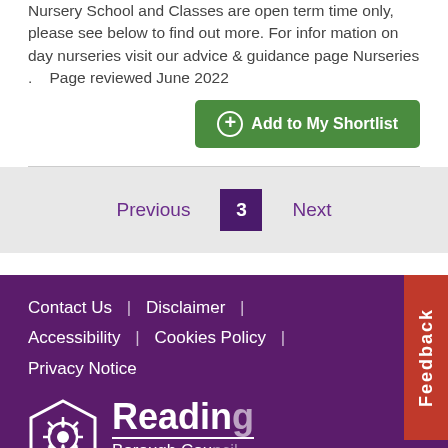Nursery School and Classes are open term time only, please see below to find out more. For infor mation on day nurseries visit our advice & guidance page Nurseries .    Page reviewed June 2022
Add to My Shortlist
Previous  3  Next
Contact Us | Disclaimer | Accessibility | Cookies Policy | Privacy Notice
[Figure (logo): Reading Borough Council logo with hexagon icon and text 'Working better together']
Feedback
top